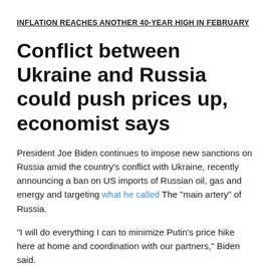INFLATION REACHES ANOTHER 40-YEAR HIGH IN FEBRUARY
Conflict between Ukraine and Russia could push prices up, economist says
President Joe Biden continues to impose new sanctions on Russia amid the country’s conflict with Ukraine, recently announcing a ban on US imports of Russian oil, gas and energy and targeting what he called The “main artery” of Russia.
“I will do everything I can to minimize Putin’s price hike here at home and coordination with our partners,” Biden said.
As the conflict continues, prices could continue to rise despite the Fed’s best efforts to control inflation, according to Credit Union